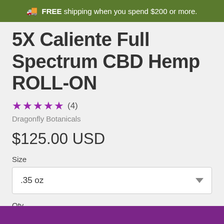FREE shipping when you spend $200 or more.
5X Caliente Full Spectrum CBD Hemp ROLL-ON
★★★★★ (4)
Dragonfly Botanicals
$125.00 USD
Size
.35 oz
Qty.
1